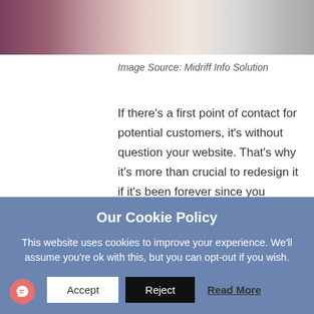[Figure (photo): A person working at a laptop, cropped to show hands and desk area with papers]
Image Source: Midriff Info Solution
If there's a first point of contact for potential customers, it's without question your website. That's why it's more than crucial to redesign it if it's been forever since you updated it. Otherwise, you'll be shooing your prospects away to your competitors.
Our Cookie Policy
This website uses cookies to improve your experience. We'll assume you're ok with this, but you can opt-out if you wish.